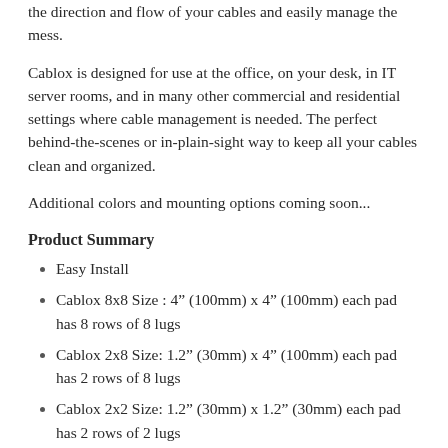the direction and flow of your cables and easily manage the mess.
Cablox is designed for use at the office, on your desk, in IT server rooms, and in many other commercial and residential settings where cable management is needed. The perfect behind-the-scenes or in-plain-sight way to keep all your cables clean and organized.
Additional colors and mounting options coming soon...
Product Summary
Easy Install
Cablox 8x8 Size : 4” (100mm) x 4” (100mm) each pad has 8 rows of 8 lugs
Cablox 2x8 Size: 1.2” (30mm) x 4” (100mm) each pad has 2 rows of 8 lugs
Cablox 2x2 Size: 1.2” (30mm) x 1.2” (30mm) each pad has 2 rows of 2 lugs